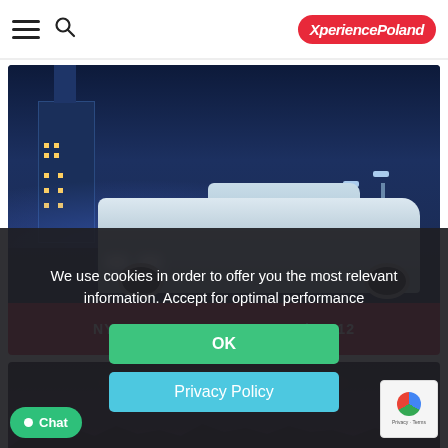XperiencePoland — navigation bar with hamburger menu, search icon, and logo
[Figure (photo): Night photograph of a white stretch limousine on a Warsaw street with the Palace of Culture and Science lit up in blue in the background]
NYE LIMO PARTY WARSAW | 31.12
[Figure (photo): Partial view of a crowd at a nighttime event venue, dimly lit stage visible in background]
We use cookies in order to offer you the most relevant information. Accept for optimal performance
OK
Privacy Policy